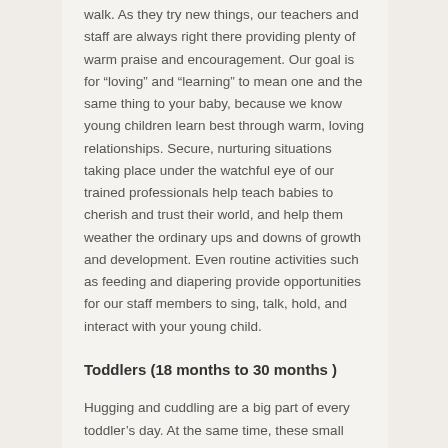walk. As they try new things, our teachers and staff are always right there providing plenty of warm praise and encouragement. Our goal is for “loving” and “learning” to mean one and the same thing to your baby, because we know young children learn best through warm, loving relationships. Secure, nurturing situations taking place under the watchful eye of our trained professionals help teach babies to cherish and trust their world, and help them weather the ordinary ups and downs of growth and development. Even routine activities such as feeding and diapering provide opportunities for our staff members to sing, talk, hold, and interact with your young child.
Toddlers (18 months to 30 months )
Hugging and cuddling are a big part of every toddler’s day. At the same time, these small people are busy finding out new things about themselves and those around them. Beginning to talk and